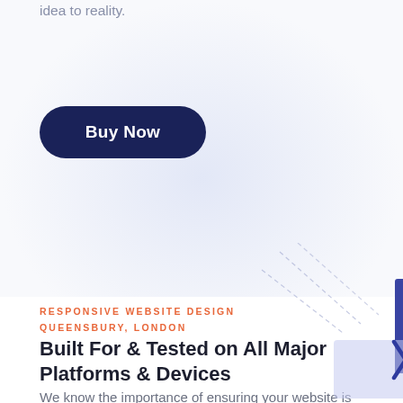idea to reality.
Buy Now
RESPONSIVE WEBSITE DESIGN
QUEENSBURY, LONDON
Built For & Tested on All Major Platforms & Devices
We know the importance of ensuring your website is compatible to whatever platform your clients are using.